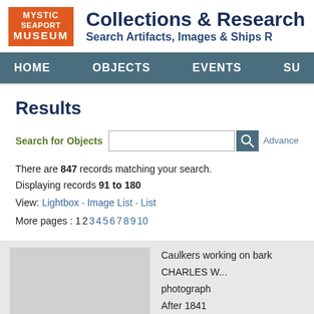[Figure (logo): Mystic Seaport Museum logo, orange/red background with white text]
Collections & Research
Search Artifacts, Images & Ships R...
HOME   OBJECTS   EVENTS   SU...
Results
Search for Objects [input box] Advance...
There are 847 records matching your search.
Displaying records 91 to 180
View: Lightbox · Image List · List
More pages : 1 2 3 4 5 6 7 8 9 10
Caulkers working on bark CHARLES W...
photograph
After 1841
1979.90.72
View